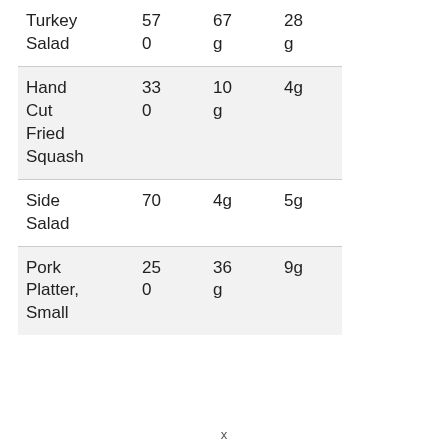| Turkey Salad | 570 | 67g | 28g |
| Hand Cut Fried Squash | 330 | 10g | 4g |
| Side Salad | 70 | 4g | 5g |
| Pork Platter, Small | 250 | 36g | 9g |